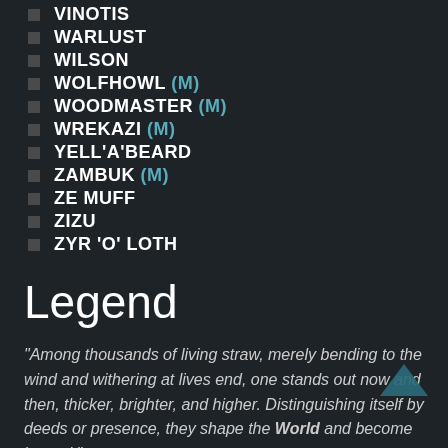VINOTIS
WARLUST
WILSON
WOLFHOWL (M)
WOODMASTER (M)
WREKAZI (M)
YELL'A'BEARD
ZAMBUK (M)
ZE MUFF
ZIZU
ZYR 'O' LOTH
Legend
“Among thousands of living straw, merely bending to the wind and withering at lives end, one stands out now and then, thicker, brighter, and higher. Distinguishing itself by deeds or presence, they shape the World and become legend.”